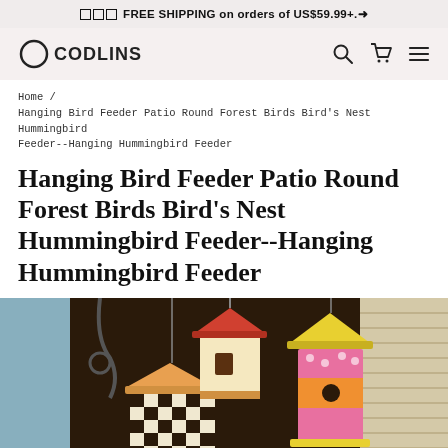⬜⬜⬜FREE SHIPPING on orders of US$59.99+.➜
[Figure (logo): Ocodlins logo with circle icon and brand name text, plus search, cart, and menu icons on the right]
Home / Hanging Bird Feeder Patio Round Forest Birds Bird's Nest Hummingbird Feeder--Hanging Hummingbird Feeder
Hanging Bird Feeder Patio Round Forest Birds Bird's Nest Hummingbird Feeder--Hanging Hummingbird Feeder
[Figure (photo): Photo of colorful decorative hanging bird feeders/birdhouses with checkered and polka dot patterns in pink, yellow, red, hanging against a dark background with window blinds visible on the right]